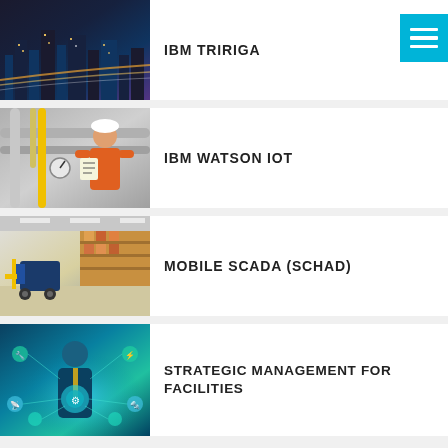[Figure (photo): Aerial city night view with highways and skyscrapers]
IBM TRIRIGA
[Figure (photo): Industrial worker in orange suit checking equipment with pipes and gauges]
IBM WATSON IOT
[Figure (photo): Warehouse interior with yellow forklift and shelving]
MOBILE SCADA (SCHAD)
[Figure (photo): Digital concept: person in suit with IoT icons and connected network symbols]
STRATEGIC MANAGEMENT FOR FACILITIES